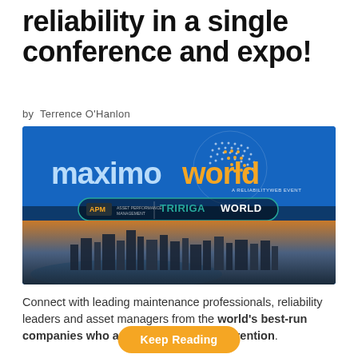reliability in a single conference and expo!
by Terrence O'Hanlon
[Figure (photo): MaximoWorld conference event banner showing the MaximoWorld logo (blue globe with dotted pattern and orange/white text), APM World and TRIRIGA World logos on a blue background, with an aerial cityscape photo below showing a river bend through an urban city at dusk.]
Connect with leading maintenance professionals, reliability leaders and asset managers from the world's best-run companies who are driving digital reinvention.
Keep Reading